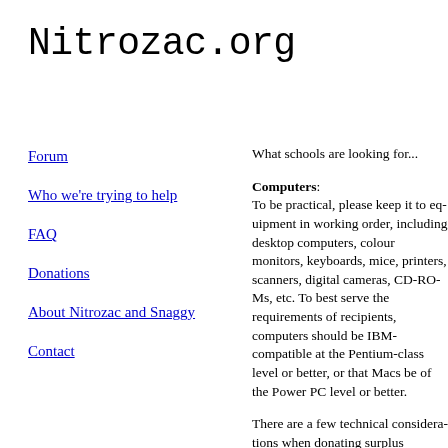Nitrozac.org
Forum
Who we're trying to help
FAQ
Donations
About Nitrozac and Snaggy
Contact
What schools are looking for...
Computers: To be practical, please keep it to equipment in working order, including desktop computers, colour monitors, keyboards, mice, printers, scanners, digital cameras, CD-ROMs, etc. To best serve the requirements of recipients, computers should be IBM-compatible at the Pentium-class level or better, or that Macs be of the Power PC level or better.
There are a few technical considerations when donating surplus computers. It is important not to strip the equipment of components.
Macintosh or Intel is great. Ideally, a good-hearted computer manufacturer new or almost new equipment in return for publicity and some very grateful kids.